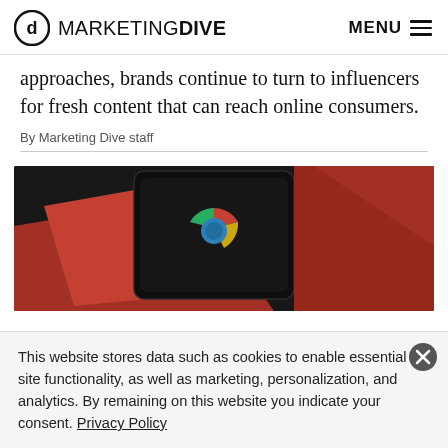MARKETING DIVE  MENU
approaches, brands continue to turn to influencers for fresh content that can reach online consumers.
By Marketing Dive staff
[Figure (photo): A smartphone displaying the Google Chrome logo on its screen, resting on a red object against a dark background.]
This website stores data such as cookies to enable essential site functionality, as well as marketing, personalization, and analytics. By remaining on this website you indicate your consent. Privacy Policy